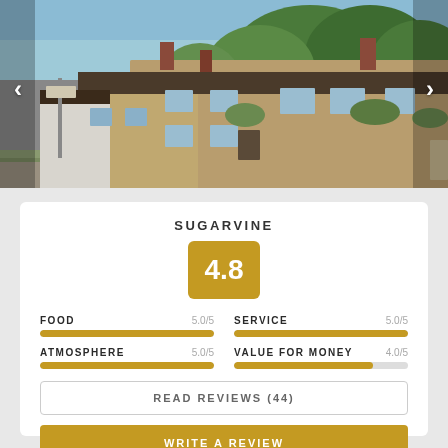[Figure (photo): Exterior photo of a traditional British stone pub building with green trees in background]
SUGARVINE
4.8
| Category | Score |
| --- | --- |
| FOOD | 5.0/5 |
| SERVICE | 5.0/5 |
| ATMOSPHERE | 5.0/5 |
| VALUE FOR MONEY | 4.0/5 |
READ REVIEWS (44)
WRITE A REVIEW